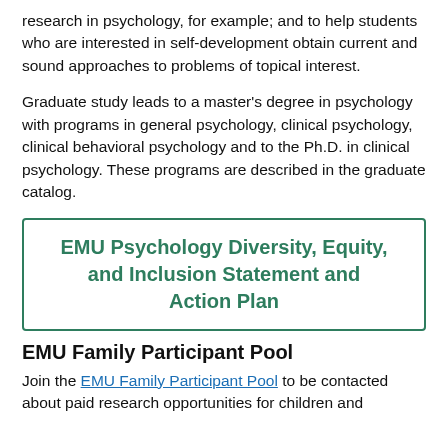research in psychology, for example; and to help students who are interested in self-development obtain current and sound approaches to problems of topical interest.
Graduate study leads to a master's degree in psychology with programs in general psychology, clinical psychology, clinical behavioral psychology and to the Ph.D. in clinical psychology. These programs are described in the graduate catalog.
EMU Psychology Diversity, Equity, and Inclusion Statement and Action Plan
EMU Family Participant Pool
Join the EMU Family Participant Pool to be contacted about paid research opportunities for children and